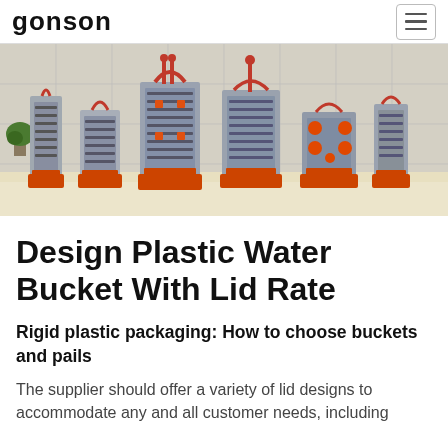GONSON
[Figure (photo): Industrial plastic injection molds of various sizes lined up in a manufacturing facility, with orange support stands, against white tiled walls.]
Design Plastic Water Bucket With Lid Rate
Rigid plastic packaging: How to choose buckets and pails
The supplier should offer a variety of lid designs to accommodate any and all customer needs, including